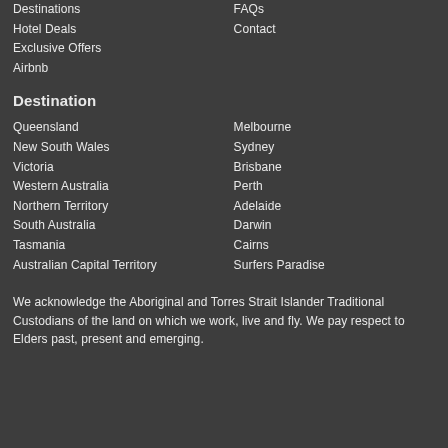Destinations
Hotel Deals
Exclusive Offers
Airbnb
FAQs
Contact
Destination
Queensland
New South Wales
Victoria
Western Australia
Northern Territory
South Australia
Tasmania
Australian Capital Territory
Melbourne
Sydney
Brisbane
Perth
Adelaide
Darwin
Cairns
Surfers Paradise
We acknowledge the Aboriginal and Torres Strait Islander Traditional Custodians of the land on which we work, live and fly. We pay respect to Elders past, present and emerging.